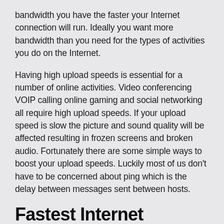bandwidth you have the faster your Internet connection will run. Ideally you want more bandwidth than you need for the types of activities you do on the Internet.
Having high upload speeds is essential for a number of online activities. Video conferencing VOIP calling online gaming and social networking all require high upload speeds. If your upload speed is slow the picture and sound quality will be affected resulting in frozen screens and broken audio. Fortunately there are some simple ways to boost your upload speeds. Luckily most of us don't have to be concerned about ping which is the delay between messages sent between hosts.
Fastest Internet Service Providers Gilroy